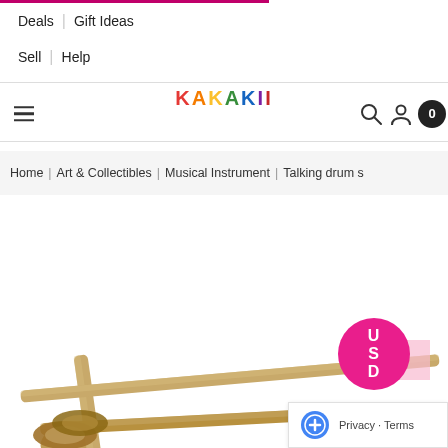Deals | Gift Ideas
Sell | Help
[Figure (logo): KAKAKII colorful logo with hamburger menu, search icon, user icon, and cart badge showing 0]
Home | Art & Collectibles | Musical Instrument | Talking drum s
[Figure (photo): Product photo of talking drum sticks (wooden mallets) on white background, with USD currency badge and reCAPTCHA privacy notice]